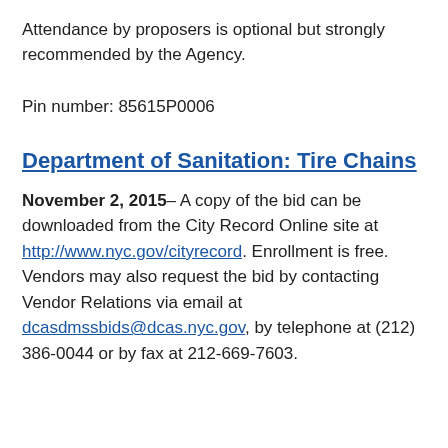Attendance by proposers is optional but strongly recommended by the Agency.
Pin number: 85615P0006
Department of Sanitation: Tire Chains
November 2, 2015– A copy of the bid can be downloaded from the City Record Online site at http://www.nyc.gov/cityrecord. Enrollment is free. Vendors may also request the bid by contacting Vendor Relations via email at dcasdmssbids@dcas.nyc.gov, by telephone at (212) 386-0044 or by fax at 212-669-7603.